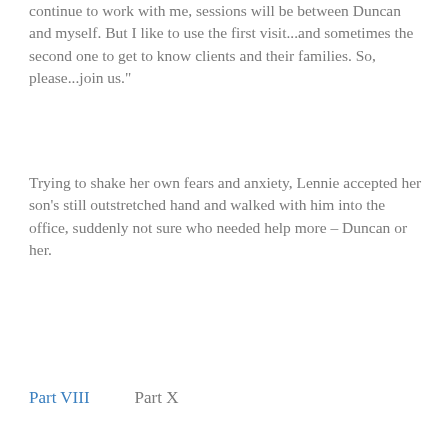continue to work with me, sessions will be between Duncan and myself. But I like to use the first visit...and sometimes the second one to get to know clients and their families. So, please...join us."
Trying to shake her own fears and anxiety, Lennie accepted her son's still outstretched hand and walked with him into the office, suddenly not sure who needed help more – Duncan or her.
Part VIII    Part X